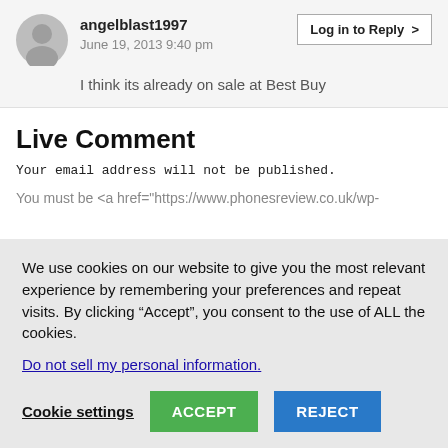angelblast1997
June 19, 2013 9:40 pm
Log in to Reply >
I think its already on sale at Best Buy
Live Comment
Your email address will not be published.
You must be <a href="https://www.phonesreview.co.uk/wp-
We use cookies on our website to give you the most relevant experience by remembering your preferences and repeat visits. By clicking “Accept”, you consent to the use of ALL the cookies.
Do not sell my personal information.
Cookie settings
ACCEPT
REJECT